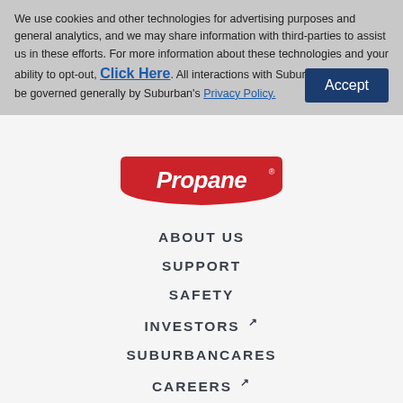We use cookies and other technologies for advertising purposes and general analytics, and we may share information with third-parties to assist us in these efforts. For more information about these technologies and your ability to opt-out, Click Here. All interactions with Suburban Propane will be governed generally by Suburban's Privacy Policy.
[Figure (logo): Suburban Propane red shield logo with 'Propane' in white italic text]
ABOUT US
SUPPORT
SAFETY
INVESTORS ↗
SUBURBANCARES
CAREERS ↗
AGWAY ENERGY ↗
EMPLOYEE GATEWAY ↗